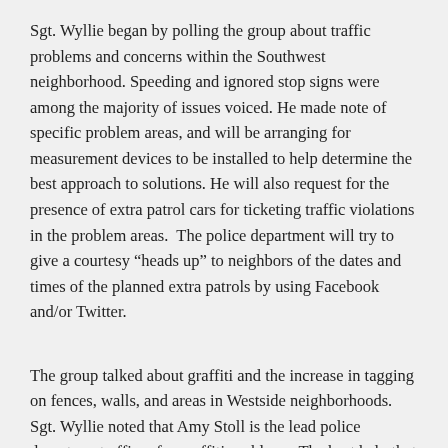Sgt. Wyllie began by polling the group about traffic problems and concerns within the Southwest neighborhood. Speeding and ignored stop signs were among the majority of issues voiced. He made note of specific problem areas, and will be arranging for measurement devices to be installed to help determine the best approach to solutions. He will also request for the presence of extra patrol cars for ticketing traffic violations in the problem areas.  The police department will try to give a courtesy “heads up” to neighbors of the dates and times of the planned extra patrols by using Facebook and/or Twitter.
The group talked about graffiti and the increase in tagging on fences, walls, and areas in Westside neighborhoods. Sgt. Wyllie noted that Amy Stoll is the lead police department officer for graffiti problems. The best help that neighbors